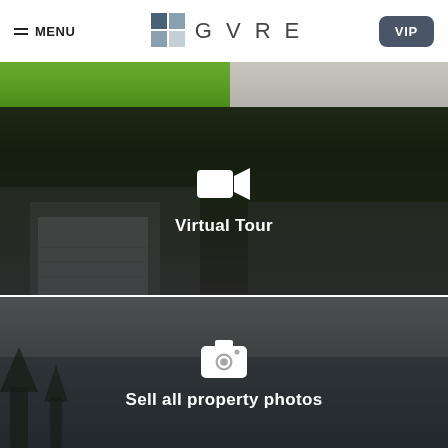MENU | GVRE | VIP
[Figure (photo): Top strip showing green grass on left and stone/concrete texture on right]
[Figure (photo): Dark panel showing exterior garage/outbuilding with trees and mountains in background, overlaid with video camera icon and 'Virtual Tour' text]
[Figure (photo): Dark panel showing lake scene with trees, overlaid with camera icon and 'Sell all property photos' text]